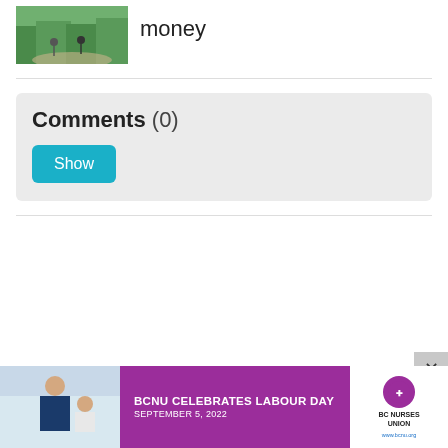[Figure (photo): Small thumbnail photo of two people riding bicycles on a tree-lined path]
money
Comments (0)
[Figure (other): Show button inside a light gray comments box]
[Figure (photo): Advertisement banner: BCNU Celebrates Labour Day, September 5, 2022, BC Nurses Union logo]